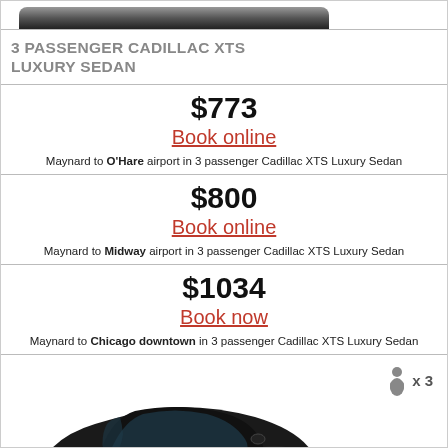[Figure (photo): Partial view of top of a dark luxury sedan (Cadillac XTS) from above, cropped at top of page]
3 PASSENGER CADILLAC XTS LUXURY SEDAN
$773
Book online
Maynard to O'Hare airport in 3 passenger Cadillac XTS Luxury Sedan
$800
Book online
Maynard to Midway airport in 3 passenger Cadillac XTS Luxury Sedan
$1034
Book now
Maynard to Chicago downtown in 3 passenger Cadillac XTS Luxury Sedan
[Figure (photo): Dark luxury sedan (Lincoln Continental style) photographed from front-left angle, with person icon x3 badge in upper right]